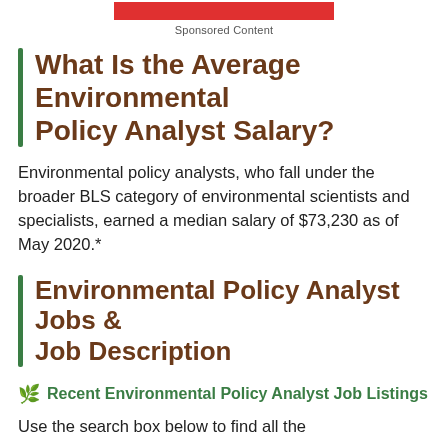Sponsored Content
What Is the Average Environmental Policy Analyst Salary?
Environmental policy analysts, who fall under the broader BLS category of environmental scientists and specialists, earned a median salary of $73,230 as of May 2020.*
Environmental Policy Analyst Jobs & Job Description
Recent Environmental Policy Analyst Job Listings
Use the search box below to find all the